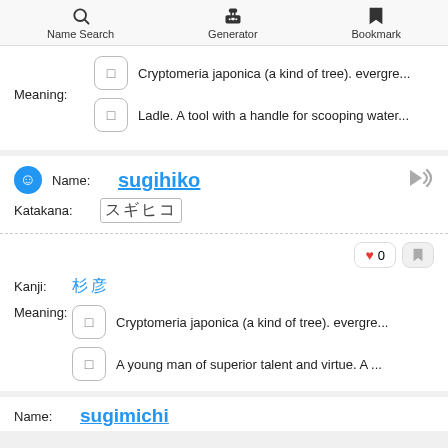Name Search | Generator | Bookmark
Meaning: Cryptomeria japonica (a kind of tree). evergre... / Ladle. A tool with a handle for scooping water...
Name: sugihiko
Katakana: スギヒコ
Kanji: 杉彦
Meaning: Cryptomeria japonica (a kind of tree). evergre... / A young man of superior talent and virtue. A ...
Name: sugimichi